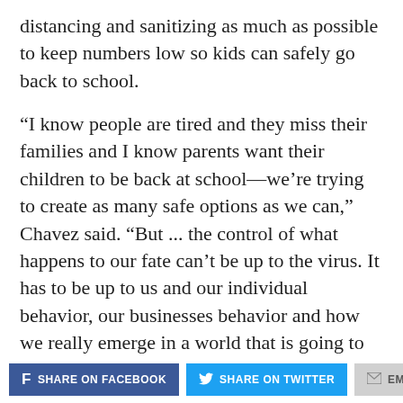distancing and sanitizing as much as possible to keep numbers low so kids can safely go back to school.
“I know people are tired and they miss their families and I know parents want their children to be back at school—we’re trying to create as many safe options as we can,” Chavez said. “But ... the control of what happens to our fate can’t be up to the virus. It has to be up to us and our individual behavior, our businesses behavior and how we really emerge in a world that is going to be with COVID-19 for some time to come.”
SHARE ON FACEBOOK | SHARE ON TWITTER | EMAIL